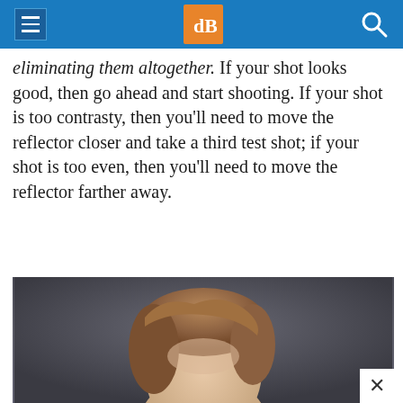dPS navigation bar
eliminating them altogether. If your shot looks good, then go ahead and start shooting. If your shot is too contrasty, then you'll need to move the reflector closer and take a third test shot; if your shot is too even, then you'll need to move the reflector farther away.
[Figure (photo): Portrait photo of a person with brown hair against a dark grey background, cropped at the top of the head and forehead area. A white close button (×) appears in the bottom-right corner of the image.]